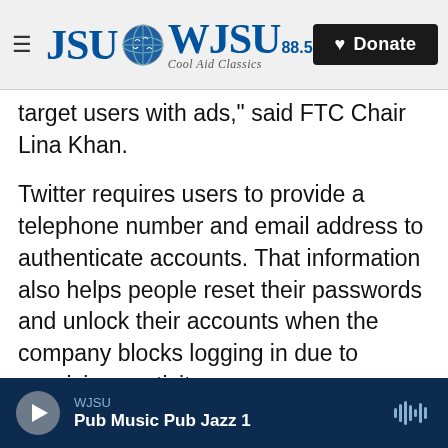JSU | WJSU 88.5 Cool Aid Classics — Donate
target users with ads," said FTC Chair Lina Khan.
Twitter requires users to provide a telephone number and email address to authenticate accounts. That information also helps people reset their passwords and unlock their accounts when the company blocks logging in due to suspicious activity.
But until at least September 2019, Twitter was also using that information to boost its advertising business by allowing advertisers access to users' phone numbers and email addresses. That ran
WJSU — Pub Music Pub Jazz 1